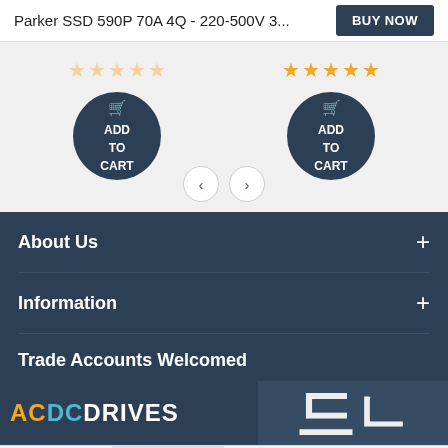Parker SSD 590P 70A 4Q - 220-500V 3...
[Figure (screenshot): Product carousel with two items: one with empty star rating and Add to Cart button, another with 5 filled stars and Add to Cart button. Navigation arrows below.]
About Us
Information
Trade Accounts Welcomed
[Figure (logo): ACDC DRIVES logo in orange/cyan/white text on dark blue background, with partial large white letters overlay on the right]
[Figure (screenshot): Bottom navigation bar with hamburger menu, shopping cart (active), basket with badge, and mail icon]